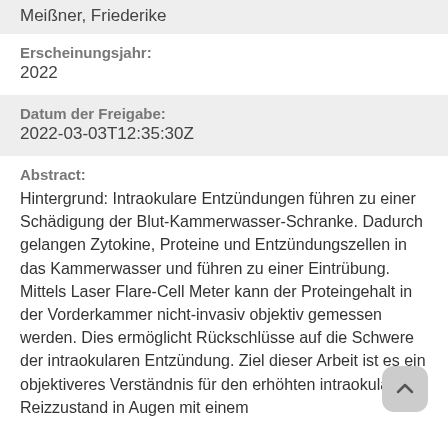Meißner, Friederike
Erscheinungsjahr:
2022
Datum der Freigabe:
2022-03-03T12:35:30Z
Abstract:
Hintergrund: Intraokulare Entzündungen führen zu einer Schädigung der Blut-Kammerwasser-Schranke. Dadurch gelangen Zytokine, Proteine und Entzündungszellen in das Kammerwasser und führen zu einer Eintrübung. Mittels Laser Flare-Cell Meter kann der Proteingehalt in der Vorderkammer nicht-invasiv objektiv gemessen werden. Dies ermöglicht Rückschlüsse auf die Schwere der intraokularen Entzündung. Ziel dieser Arbeit ist es ein objektiveres Verständnis für den erhöhten intraokularen Reizzustand in Augen mit einem